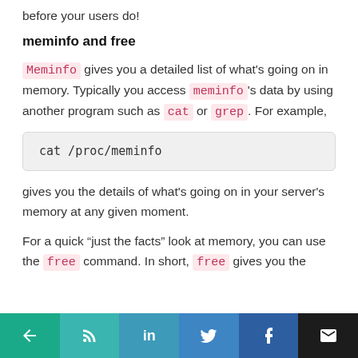before your users do!
meminfo and free
Meminfo gives you a detailed list of what's going on in memory. Typically you access meminfo's data by using another program such as cat or grep. For example,
cat /proc/meminfo
gives you the details of what's going on in your server's memory at any given moment.
For a quick “just the facts” look at memory, you can use the free command. In short, free gives you the
← RSS in LinkedIn Twitter Facebook Mail